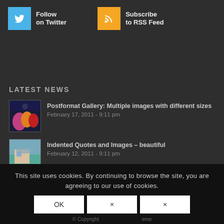[Figure (logo): Twitter follow button with blue bird icon and text 'Follow on Twitter']
[Figure (logo): RSS subscribe button with orange RSS icon and text 'Subscribe to RSS Feed']
LATEST NEWS
Postformat Gallery: Multiple images with different sizes
February 17, 2011 - 9:11 pm
Indented Quotes and Images – beautiful
February 12, 2011 - 9:11 pm
Custom Lightbox!
August 9, 2010 - 3:45 pm
This site uses cookies. By continuing to browse the site, you are agreeing to our use of cookies.
© Copyright ... eme